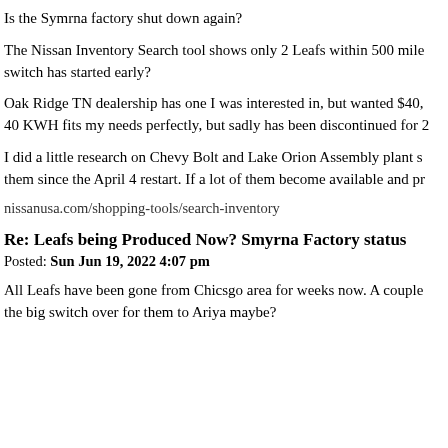Is the Symrna factory shut down again?
The Nissan Inventory Search tool shows only 2 Leafs within 500 mile switch has started early?
Oak Ridge TN dealership has one I was interested in, but wanted $40, 40 KWH fits my needs perfectly, but sadly has been discontinued for 2
I did a little research on Chevy Bolt and Lake Orion Assembly plant s them since the April 4 restart. If a lot of them become available and pr
nissanusa.com/shopping-tools/search-inventory
Re: Leafs being Produced Now? Smyrna Factory status
Posted: Sun Jun 19, 2022 4:07 pm
All Leafs have been gone from Chicsgo area for weeks now. A couple the big switch over for them to Ariya maybe?